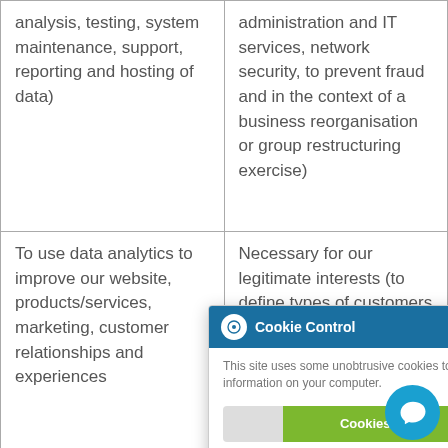| analysis, testing, system maintenance, support, reporting and hosting of data) | administration and IT services, network security, to prevent fraud and in the context of a business reorganisation or group restructuring exercise) |
| To use data analytics to improve our website, products/services, marketing, customer relationships and experiences | Necessary for our legitimate interests (to define types of customers and to keep our website updated and relevant, to develop our business and to inform our marketing strategy) |
| To make suggestions and | Necessary for our |
[Figure (screenshot): Cookie Control popup overlay showing 'This site uses some unobtrusive cookies to store information on your computer.' with a green 'Cookies are on' toggle and a 'read more' link at the bottom.]